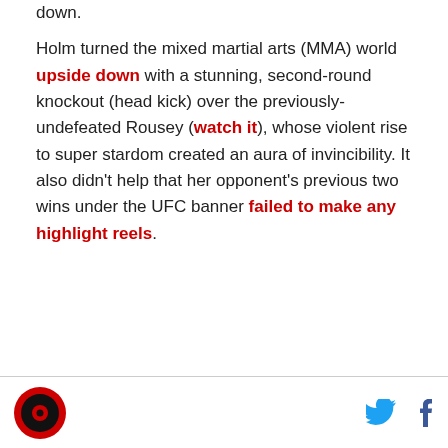down.
Holm turned the mixed martial arts (MMA) world upside down with a stunning, second-round knockout (head kick) over the previously-undefeated Rousey (watch it), whose violent rise to super stardom created an aura of invincibility. It also didn't help that her opponent's previous two wins under the UFC banner failed to make any highlight reels.
Logo | Twitter | Facebook icons